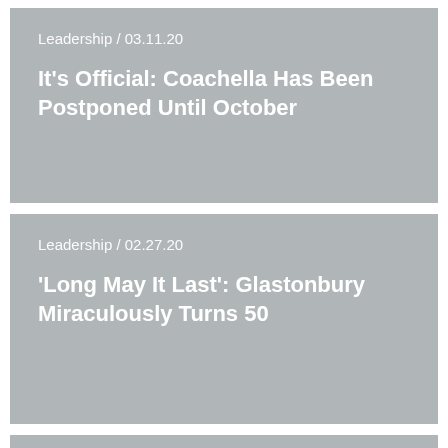Leadership / 03.11.20
It’s Official: Coachella Has Been Postponed Until October
Leadership / 02.27.20
'Long May It Last': Glastonbury Miraculously Turns 50